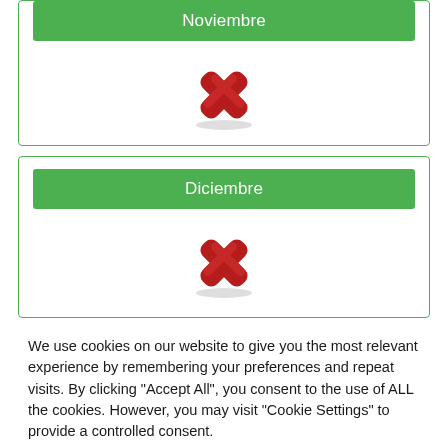[Figure (screenshot): Green button labeled Noviembre with a red X icon below it, inside a green-bordered card (partially visible at top)]
[Figure (screenshot): Green button labeled Diciembre with a red X icon below it, inside a green-bordered card]
We use cookies on our website to give you the most relevant experience by remembering your preferences and repeat visits. By clicking "Accept All", you consent to the use of ALL the cookies. However, you may visit "Cookie Settings" to provide a controlled consent.
[Figure (screenshot): Two buttons: 'Cookie Settings' (gray) and 'Accept All' (green)]